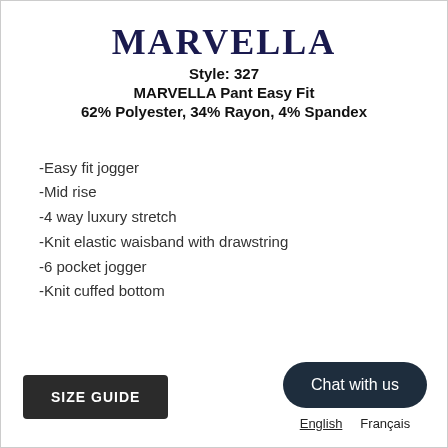MARVELLA
Style: 327
MARVELLA Pant Easy Fit
62% Polyester, 34% Rayon, 4% Spandex
-Easy fit jogger
-Mid rise
-4 way luxury stretch
-Knit elastic waisband with drawstring
-6 pocket jogger
-Knit cuffed bottom
Chat with us
SIZE GUIDE
English   Français